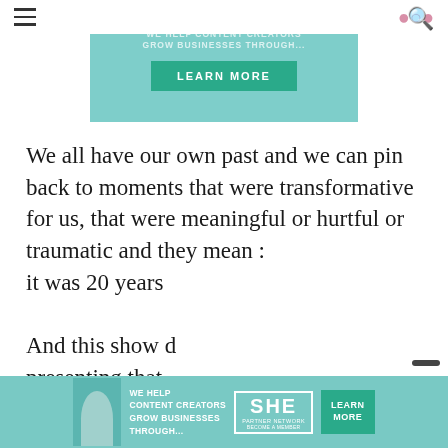[Figure (screenshot): Top navigation bar with hamburger menu, ICECREAMCONVOS logo in pink, and search icon. Teal banner ad with 'WE HELP CONTENT CREATORS GROW BUSINESSES THROUGH...' and a dark teal LEARN MORE button.]
We all have our own past and we can pin back to moments that were transformative for us, that were meaningful or hurtful or traumatic and they mean : it was 20 years
And this show d presenting that that's the part c
[Figure (screenshot): Bottom banner ad: 'WE HELP CONTENT CREATORS GROW BUSINESSES THROUGH...' with SHE Partner Network logo and LEARN MORE button on teal background.]